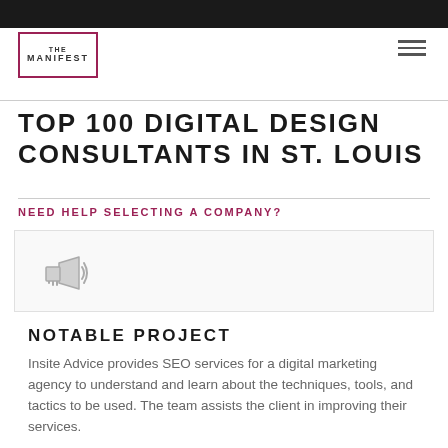[Figure (logo): The Manifest logo — two overlapping rectangles outlined in dark red/maroon with THE MANIFEST text inside]
TOP 100 DIGITAL DESIGN CONSULTANTS IN ST. LOUIS
NEED HELP SELECTING A COMPANY?
[Figure (illustration): Megaphone / bullhorn icon in light gray on a light gray card background]
NOTABLE PROJECT
Insite Advice provides SEO services for a digital marketing agency to understand and learn about the techniques, tools, and tactics to be used. The team assists the client in improving their services.
"Insite Advice is very focused on innovation and always improving their services."